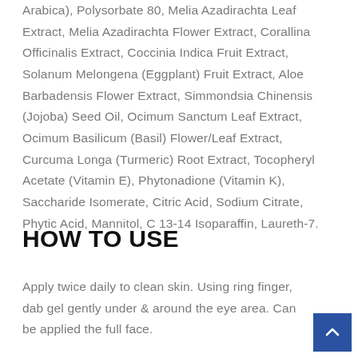Arabica), Polysorbate 80, Melia Azadirachta Leaf Extract, Melia Azadirachta Flower Extract, Corallina Officinalis Extract, Coccinia Indica Fruit Extract, Solanum Melongena (Eggplant) Fruit Extract, Aloe Barbadensis Flower Extract, Simmondsia Chinensis (Jojoba) Seed Oil, Ocimum Sanctum Leaf Extract, Ocimum Basilicum (Basil) Flower/Leaf Extract, Curcuma Longa (Turmeric) Root Extract, Tocopheryl Acetate (Vitamin E), Phytonadione (Vitamin K), Saccharide Isomerate, Citric Acid, Sodium Citrate, Phytic Acid, Mannitol, C 13-14 Isoparaffin, Laureth-7.
HOW TO USE
Apply twice daily to clean skin. Using ring finger, dab gel gently under & around the eye area. Can be applied the full face.